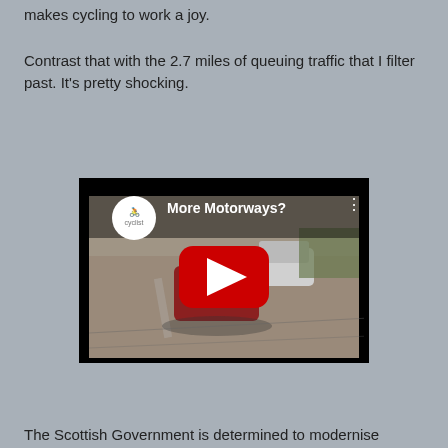makes cycling to work a joy.
Contrast that with the 2.7 miles of queuing traffic that I filter past. It's pretty shocking.
[Figure (screenshot): YouTube video embed thumbnail showing cars on a road from a high angle, with a red play button overlay and the title 'More Motorways?' and a circular cyclist icon in the top left corner.]
The Scottish Government is determined to modernise